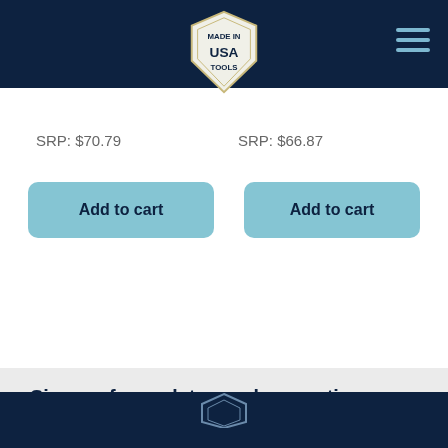Made in USA Tools — navigation header with logo and hamburger menu
SRP: $70.79
SRP: $66.87
Add to cart
Add to cart
Sign up for updates and promotions:
Email address
Sign up
Dark navy footer with logo